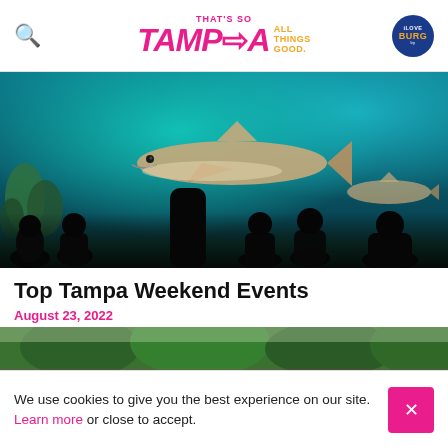That's So Tampa — All Things Good. iLoveBurg
[Figure (photo): Children silhouetted against a large aquarium tank viewing window with a shark and other fish swimming past, coral and underwater vegetation visible]
Top Tampa Weekend Events
August 23, 2022
[Figure (photo): Partially visible outdoor photo showing trees and greenery, partially obscured by a pink/magenta overlay at the bottom]
We use cookies to give you the best experience on our site. Learn more or close to accept.